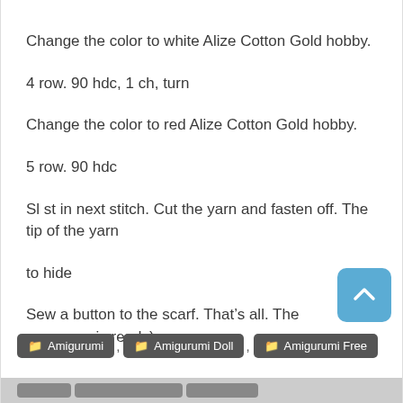Change the color to white Alize Cotton Gold hobby.
4 row. 90 hdc, 1 ch, turn
Change the color to red Alize Cotton Gold hobby.
5 row. 90 hdc
Sl st in next stitch. Cut the yarn and fasten off. The tip of the yarn
to hide
Sew a button to the scarf. That’s all. The snowman is ready)
Amigurumi
Amigurumi Doll
Amigurumi Free